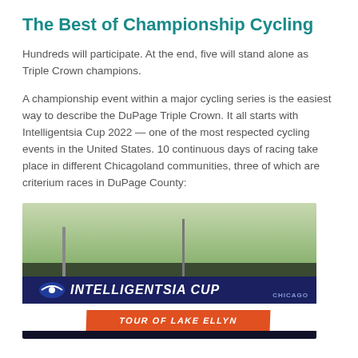The Best of Championship Cycling
Hundreds will participate. At the end, five will stand alone as Triple Crown champions.
A championship event within a major cycling series is the easiest way to describe the DuPage Triple Crown. It all starts with Intelligentsia Cup 2022 — one of the most respected cycling events in the United States. 10 continuous days of racing take place in different Chicagoland communities, three of which are criterium races in DuPage County:
[Figure (photo): Outdoor cycling event banner showing 'INTELLIGENTSIA CUP' and 'TOUR OF LAKE ELLYN' signage with trees in background]